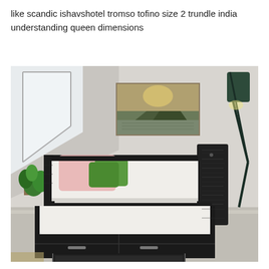like scandic ishavshotel tromso tofino size 2 trundle india understanding queen dimensions
[Figure (photo): A dark-stained wooden trundle bed with storage drawers in an attic-style room. The bed has a white mattress with pink and green pillows. A trundle bed is pulled out below showing a second white mattress. Storage drawers with metal handles are visible at the front. A green floor lamp is in the background on the right. A landscape painting hangs on the wall above. A plant is visible on the left side.]